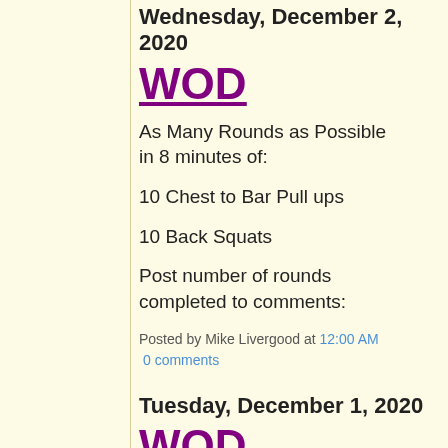Wednesday, December 2, 2020
WOD
As Many Rounds as Possible in 8 minutes of:
10 Chest to Bar Pull ups
10 Back Squats
Post number of rounds completed to comments:
Posted by Mike Livergood at 12:00 AM
0 comments
Tuesday, December 1, 2020
WOD